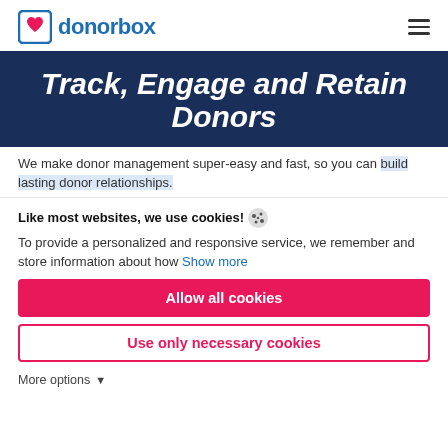donorbox
Track, Engage and Retain Donors
We make donor management super-easy and fast, so you can build lasting donor relationships.
Like most websites, we use cookies!
To provide a personalized and responsive service, we remember and store information about how  Show more
Allow all cookies
Use only necessary cookies
More options